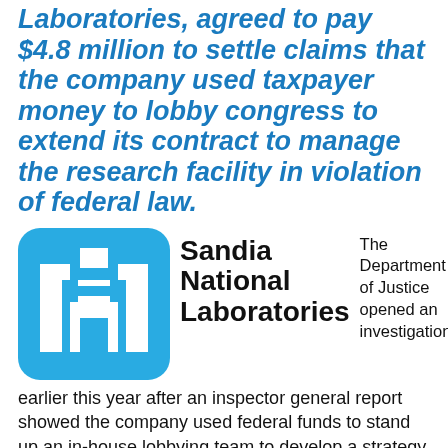Laboratories, agreed to pay $4.8 million to settle claims that the company used taxpayer money to lobby congress to extend its contract to manage the research facility in violation of federal law.
[Figure (logo): Sandia National Laboratories logo — blue rounded square with stylized building icon in white, beside bold black text reading 'Sandia National Laboratories']
The Department of Justice opened an investigation earlier this year after an inspector general report showed the company used federal funds to stand up an in-house lobbying team to develop a strategy to extend the management contract for the facility at Kirtland Air Force Base in Albuquerque, New Mexico, after it was set to expire in 2012.
Documents obtained by the IG revealed a strategy to influence congressmen and federal officials — including